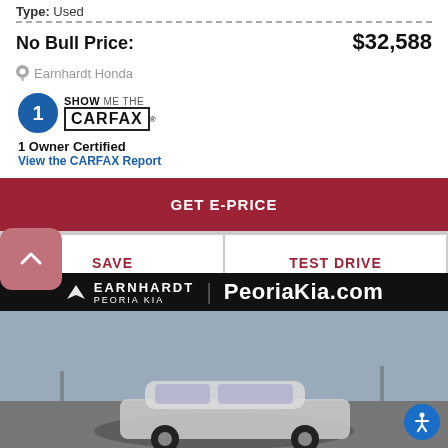Type: Used
No Bull Price: $32,588
Earnhardt Honda
[Figure (logo): CARFAX 1 Owner Certified badge with Show Me The CARFAX logo]
1 Owner Certified
View the CARFAX Report
GET E-PRICE
SAVE
TEST DRIVE
[Figure (photo): Earnhardt Peoria Kia dealership photo with car and banner showing PeoriaKia.com]